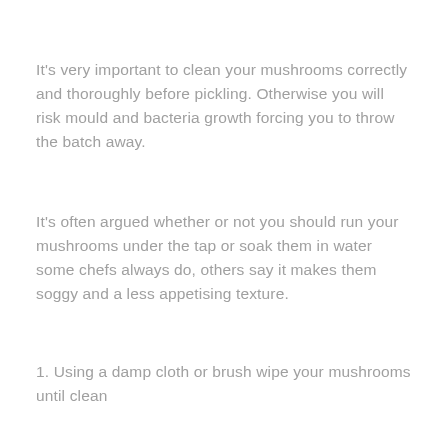It's very important to clean your mushrooms correctly and thoroughly before pickling. Otherwise you will risk mould and bacteria growth forcing you to throw the batch away.
It's often argued whether or not you should run your mushrooms under the tap or soak them in water some chefs always do, others say it makes them soggy and a less appetising texture.
1. Using a damp cloth or brush wipe your mushrooms until clean